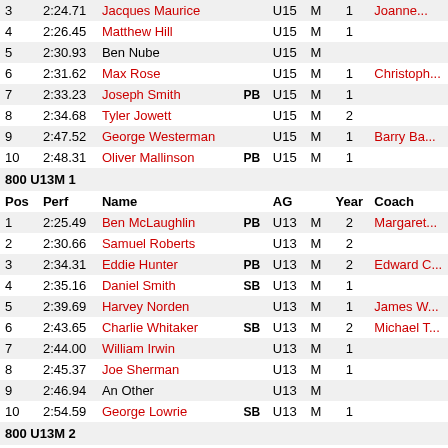| Pos | Perf | Name |  | AG |  | Year | Coach |
| --- | --- | --- | --- | --- | --- | --- | --- |
| 3 | 2:24.71 | Jacques Maurice |  | U15 | M | 1 | Joanne... |
| 4 | 2:26.45 | Matthew Hill |  | U15 | M | 1 |  |
| 5 | 2:30.93 | Ben Nube |  | U15 | M |  |  |
| 6 | 2:31.62 | Max Rose |  | U15 | M | 1 | Christoph... |
| 7 | 2:33.23 | Joseph Smith | PB | U15 | M | 1 |  |
| 8 | 2:34.68 | Tyler Jowett |  | U15 | M | 2 |  |
| 9 | 2:47.52 | George Westerman |  | U15 | M | 1 | Barry Ba... |
| 10 | 2:48.31 | Oliver Mallinson | PB | U15 | M | 1 |  |
800 U13M 1
| Pos | Perf | Name |  | AG |  | Year | Coach |
| --- | --- | --- | --- | --- | --- | --- | --- |
| 1 | 2:25.49 | Ben McLaughlin | PB | U13 | M | 2 | Margaret... |
| 2 | 2:30.66 | Samuel Roberts |  | U13 | M | 2 |  |
| 3 | 2:34.31 | Eddie Hunter | PB | U13 | M | 2 | Edward C... |
| 4 | 2:35.16 | Daniel Smith | SB | U13 | M | 1 |  |
| 5 | 2:39.69 | Harvey Norden |  | U13 | M | 1 | James W... |
| 6 | 2:43.65 | Charlie Whitaker | SB | U13 | M | 2 | Michael T... |
| 7 | 2:44.00 | William Irwin |  | U13 | M | 1 |  |
| 8 | 2:45.37 | Joe Sherman |  | U13 | M | 1 |  |
| 9 | 2:46.94 | An Other |  | U13 | M |  |  |
| 10 | 2:54.59 | George Lowrie | SB | U13 | M | 1 |  |
800 U13M 2
| Pos | Perf | Name |  | AG |  | Year | Coach |
| --- | --- | --- | --- | --- | --- | --- | --- |
| 1 | 2:37.02 | Isaac Rushworth | PB | U13 | M | 2 | Jenny W... |
| 2 | 2:38.55 | Robbie Watson | PB | U13 | M | 2 |  |